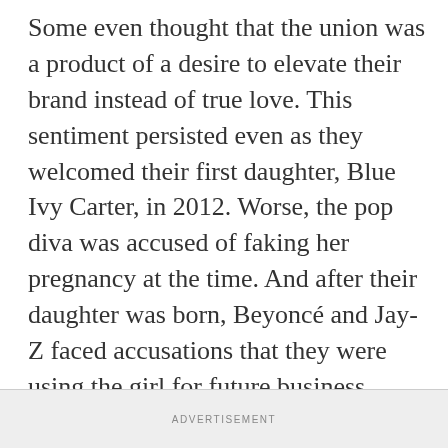Some even thought that the union was a product of a desire to elevate their brand instead of true love. This sentiment persisted even as they welcomed their first daughter, Blue Ivy Carter, in 2012. Worse, the pop diva was accused of faking her pregnancy at the time. And after their daughter was born, Beyoncé and Jay-Z faced accusations that they were using the girl for future business deals. Now a family of five after the birth of twins Rumi and Sir in 2017, the Carters seem to be stronger than ever despite years of enduring nasty rumors about them.
ADVERTISEMENT